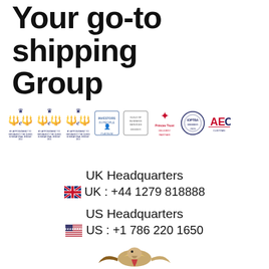Your go-to shipping Group
[Figure (logo): Row of certification and award logos: three Royal Warrant style logos with crown and wings, plus partner certification logos including Investors in People, Guild of Business, Princes Trust, IOPTBA, and AEO]
UK Headquarters
🇬🇧 UK : +44 1279 818888
US Headquarters
🇺🇸 US : +1 786 220 1650
[Figure (illustration): Bird (hawk or kookaburra) with spread wings at bottom center of page]